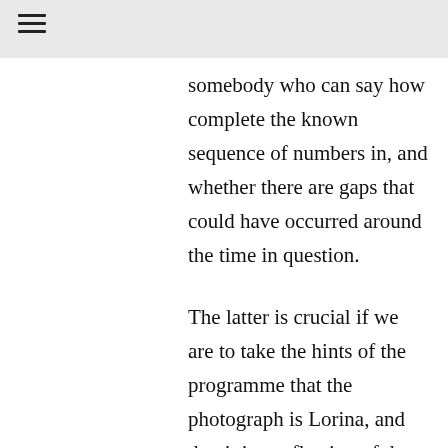somebody who can say how complete the known sequence of numbers in, and whether there are gaps that could have occurred around the time in question.
The latter is crucial if we are to take the hints of the programme that the photograph is Lorina, and that it is a reflection of the situation that led to the infamous “break” in 1863. This is, of course, something of a bait-and-switch. All the way